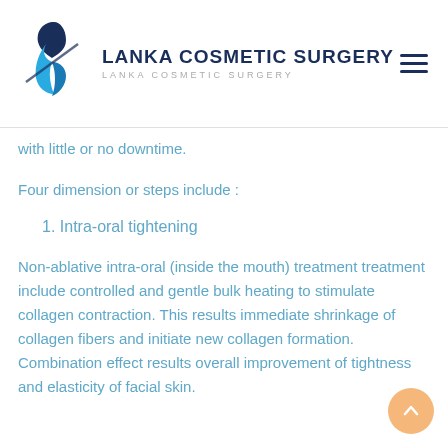[Figure (logo): Lanka Cosmetic Surgery logo with stylized 'B' in blue tones and company name]
with little or no downtime.
Four dimension or steps include :
1. Intra-oral tightening
Non-ablative intra-oral (inside the mouth) treatment treatment include controlled and gentle bulk heating to stimulate collagen contraction. This results immediate shrinkage of collagen fibers and initiate new collagen formation. Combination effect results overall improvement of tightness and elasticity of facial skin.